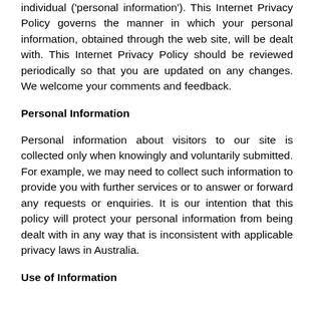individual ('personal information'). This Internet Privacy Policy governs the manner in which your personal information, obtained through the web site, will be dealt with. This Internet Privacy Policy should be reviewed periodically so that you are updated on any changes. We welcome your comments and feedback.
Personal Information
Personal information about visitors to our site is collected only when knowingly and voluntarily submitted. For example, we may need to collect such information to provide you with further services or to answer or forward any requests or enquiries. It is our intention that this policy will protect your personal information from being dealt with in any way that is inconsistent with applicable privacy laws in Australia.
Use of Information